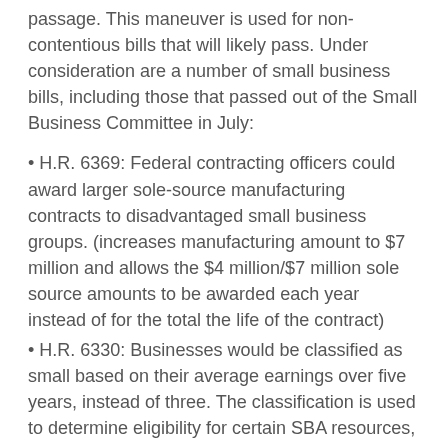passage. This maneuver is used for non-contentious bills that will likely pass. Under consideration are a number of small business bills, including those that passed out of the Small Business Committee in July:
H.R. 6369: Federal contracting officers could award larger sole-source manufacturing contracts to disadvantaged small business groups. (increases manufacturing amount to $7 million and allows the $4 million/$7 million sole source amounts to be awarded each year instead of for the total the life of the contract)
H.R. 6330: Businesses would be classified as small based on their average earnings over five years, instead of three. The classification is used to determine eligibility for certain SBA resources, programs, and assistance, including for winning federal contracts.